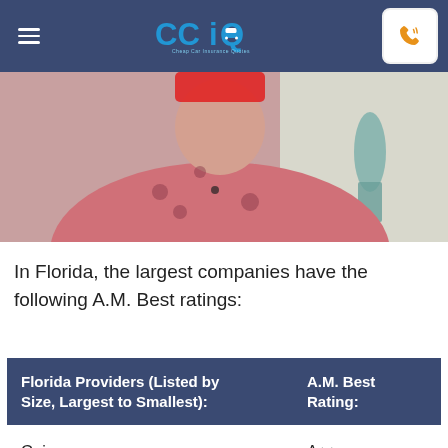CCIQ – Cheap Car Insurance Quotes
[Figure (photo): Woman in pink floral top seated in front of a light background; partial red play button visible at top]
In Florida, the largest companies have the following A.M. Best ratings:
| Florida Providers (Listed by Size, Largest to Smallest): | A.M. Best Rating: |
| --- | --- |
| Geico | A++ |
| State Farm | A++ |